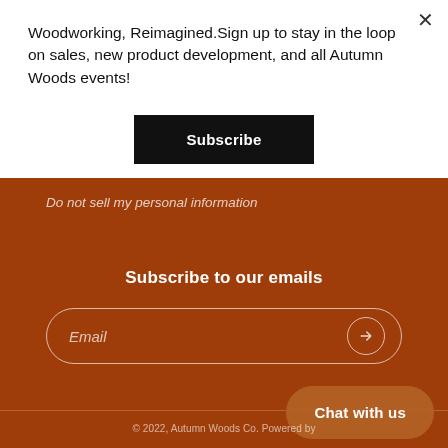Woodworking, Reimagined.Sign up to stay in the loop on sales, new product development, and all Autumn Woods events!
Subscribe
Do not sell my personal information
Subscribe to our emails
Email
Chat with us
© 2022, Autumn Woods Co. Powered by